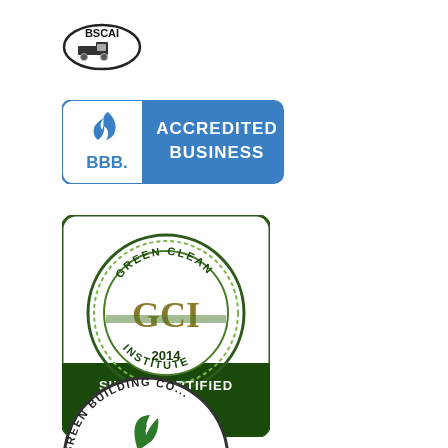[Figure (logo): BSCAI logo - oval shaped with text BSCAI and a truck/building service icon]
[Figure (logo): BBB Accredited Business logo - blue rounded rectangle with BBB flame icon and white text ACCREDITED BUSINESS]
[Figure (logo): Green Clean Institute GCI Silver Certified EHS 2014 - round seal with dark green border, GCI monogram, dark green bottom bar with SILVER CERTIFIED and yellow EHS text]
[Figure (logo): Green Building Council logo - partial circular seal visible at bottom of page]